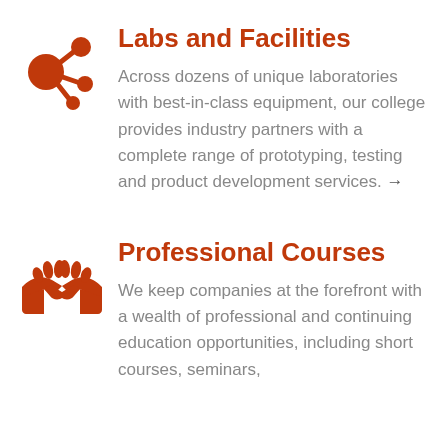[Figure (illustration): Orange icon of connected network/molecule nodes (circles connected by lines), representing labs and facilities]
Labs and Facilities
Across dozens of unique laboratories with best-in-class equipment, our college provides industry partners with a complete range of prototyping, testing and product development services. →
[Figure (illustration): Orange icon of two hands shaking/handshake, representing professional courses]
Professional Courses
We keep companies at the forefront with a wealth of professional and continuing education opportunities, including short courses, seminars,